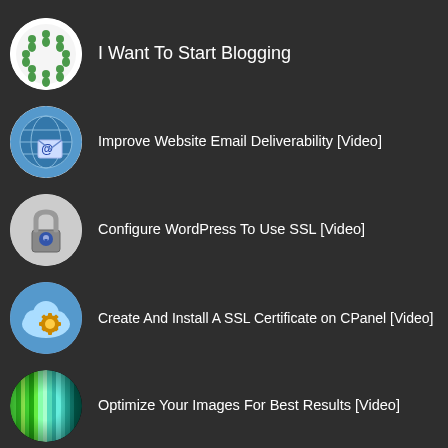I Want To Start Blogging
Improve Website Email Deliverability [Video]
Configure WordPress To Use SSL [Video]
Create And Install A SSL Certificate on CPanel [Video]
Optimize Your Images For Best Results [Video]